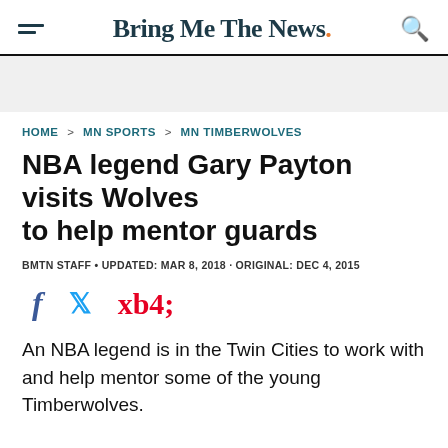Bring Me The News.
HOME > MN SPORTS > MN TIMBERWOLVES
NBA legend Gary Payton visits Wolves to help mentor guards
BMTN STAFF • UPDATED: MAR 8, 2018 · ORIGINAL: DEC 4, 2015
[Figure (other): Social share icons: Facebook (f), Twitter (bird), Pinterest (p)]
An NBA legend is in the Twin Cities to work with and help mentor some of the young Timberwolves.